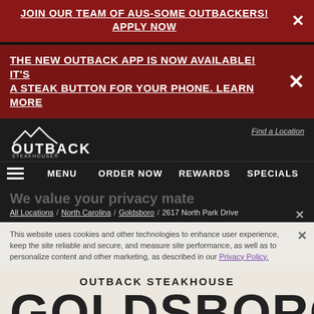JOIN OUR TEAM OF AUS-SOME OUTBACKERS! APPLY NOW
THE NEW OUTBACK APP IS NOW AVAILABLE! IT'S A STEAK BUTTON FOR YOUR PHONE. LEARN MORE
[Figure (logo): Outback Steakhouse logo with mountain silhouette]
Find a Location
MENU  ORDER NOW  REWARDS  SPECIALS
All Locations / North Carolina / Goldsboro / 2617 North Park Drive
We value your privacy mate
This website uses cookies and other technologies to enhance user experience, keep the site reliable and secure, and measure site performance, as well as to personalize content and other marketing, as described in our Privacy Policy.
OUTBACK STEAKHOUSE
GOLDSBORO